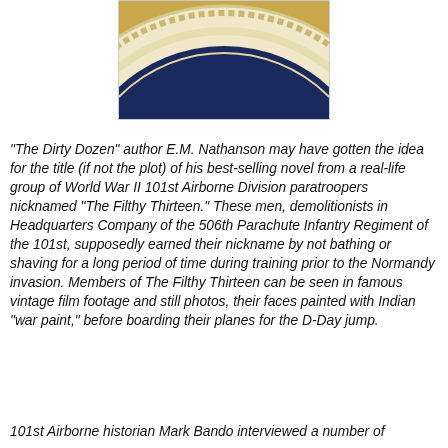[Figure (photo): Partial view of a military paratrooper badge/patch — circular design showing the word 'PARATROOPER' in dark letters on a cream/tan background with decorative edging, over a dark blue center. Bottom portion of badge visible.]
"The Dirty Dozen" author E.M. Nathanson may have gotten the idea for the title (if not the plot) of his best-selling novel from a real-life group of World War II 101st Airborne Division paratroopers nicknamed "The Filthy Thirteen." These men, demolitionists in Headquarters Company of the 506th Parachute Infantry Regiment of the 101st, supposedly earned their nickname by not bathing or shaving for a long period of time during training prior to the Normandy invasion. Members of The Filthy Thirteen can be seen in famous vintage film footage and still photos, their faces painted with Indian "war paint," before boarding their planes for the D-Day jump.
101st Airborne historian Mark Bando interviewed a number of...